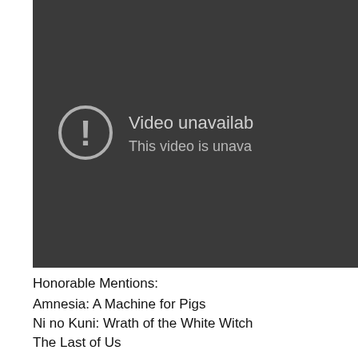[Figure (screenshot): Dark background video player showing 'Video unavailable' error message with an exclamation mark circle icon and text 'This video is unava...']
Honorable Mentions:
Amnesia: A Machine for Pigs
Ni no Kuni: Wrath of the White Witch
The Last of Us